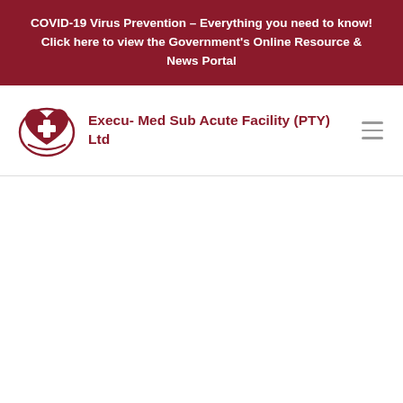COVID-19 Virus Prevention – Everything you need to know! Click here to view the Government's Online Resource & News Portal
[Figure (logo): Execu-Med heart with plus sign logo in dark red/crimson color]
Execu- Med Sub Acute Facility (PTY) Ltd